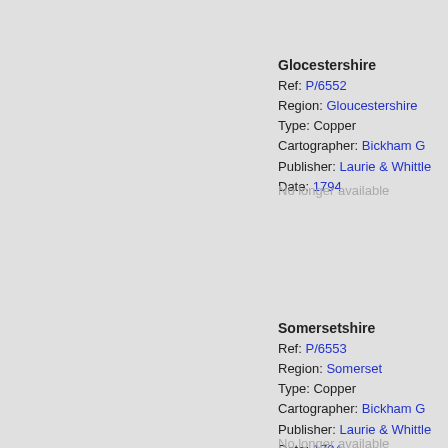Glocestershire
Ref: P/6552
Region: Gloucestershire
Type: Copper
Cartographer: Bickham G
Publisher: Laurie & Whittle
Date: 1794
No longer available
Somersetshire
Ref: P/6553
Region: Somerset
Type: Copper
Cartographer: Bickham G
Publisher: Laurie & Whittle
Date: 1794
No longer available